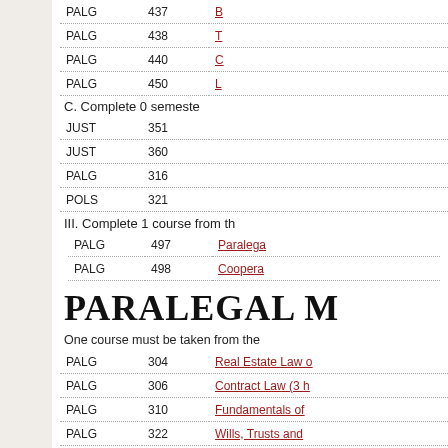| Dept | Number | Course |
| --- | --- | --- |
| PALG | 437 | B... |
| PALG | 438 | T... |
| PALG | 440 | C... |
| PALG | 450 | L... |
C. Complete 0 semeste...
| Dept | Number | Course |
| --- | --- | --- |
| JUST | 351 |  |
| JUST | 360 |  |
| PALG | 316 |  |
| POLS | 321 |  |
III. Complete 1 course from th...
| Dept | Number | Course |
| --- | --- | --- |
| PALG | 497 | Paralega... |
| PALG | 498 | Coopera... |
PARALEGAL M...
One course must be taken from the...
| Dept | Number | Course |
| --- | --- | --- |
| PALG | 304 | Real Estate Law o... |
| PALG | 306 | Contract Law (3 h... |
| PALG | 310 | Fundamentals of... |
| PALG | 322 | Wills, Trusts and... |